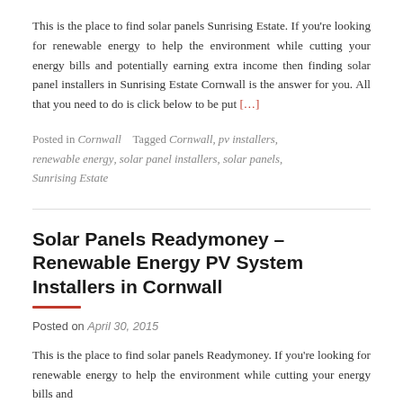This is the place to find solar panels Sunrising Estate. If you're looking for renewable energy to help the environment while cutting your energy bills and potentially earning extra income then finding solar panel installers in Sunrising Estate Cornwall is the answer for you. All that you need to do is click below to be put [...]
Posted in Cornwall   Tagged Cornwall, pv installers, renewable energy, solar panel installers, solar panels, Sunrising Estate
Solar Panels Readymoney – Renewable Energy PV System Installers in Cornwall
Posted on April 30, 2015
This is the place to find solar panels Readymoney. If you're looking for renewable energy to help the environment while cutting your energy bills and